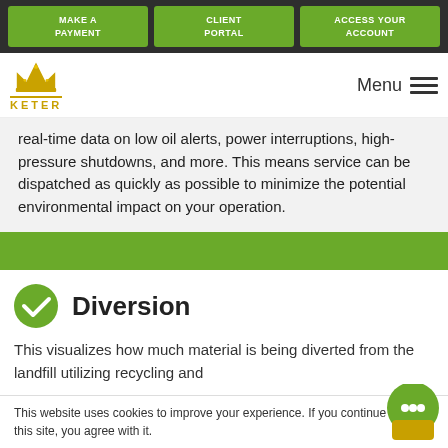MAKE A PAYMENT | CLIENT PORTAL | ACCESS YOUR ACCOUNT
[Figure (logo): Keter company logo with gold crown icon and KETER text]
real-time data on low oil alerts, power interruptions, high-pressure shutdowns, and more. This means service can be dispatched as quickly as possible to minimize the potential environmental impact on your operation.
Diversion
This visualizes how much material is being diverted from the landfill utilizing recycling and
This website uses cookies to improve your experience. If you continue to use this site, you agree with it.